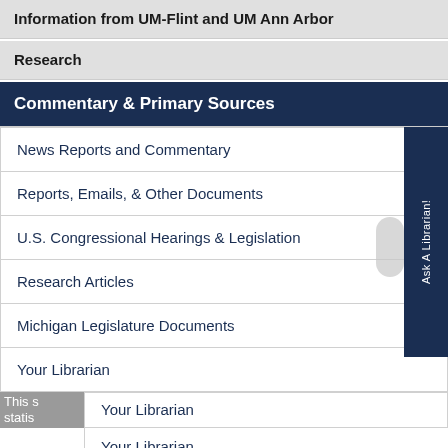Information from UM-Flint and UM Ann Arbor
Research
Commentary & Primary Sources
News Reports and Commentary
Reports, Emails, & Other Documents
U.S. Congressional Hearings & Legislation
Research Articles
Michigan Legislature Documents
Your Librarian
Your Librarian
Your Librarian
This s
statis